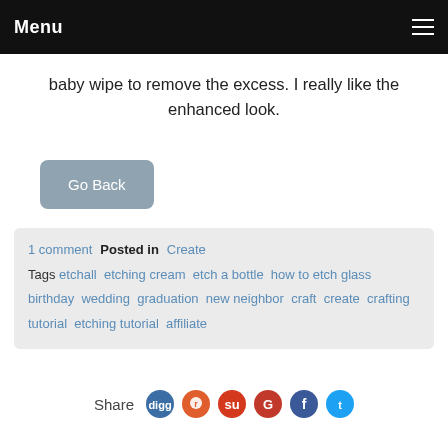Menu
baby wipe to remove the excess. I really like the enhanced look.
Go Back
1 comment  Posted in Create  Tags etchall etching cream etch a bottle how to etch glass birthday wedding graduation new neighbor craft create crafting tutorial etching tutorial affiliate
Share